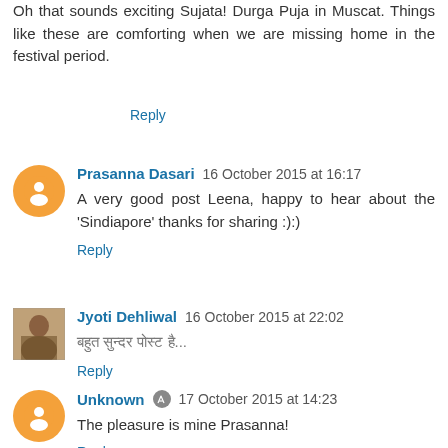Oh that sounds exciting Sujata! Durga Puja in Muscat. Things like these are comforting when we are missing home in the festival period.
Reply
Prasanna Dasari  16 October 2015 at 16:17
A very good post Leena, happy to hear about the 'Sindiapore' thanks for sharing :):)
Reply
Jyoti Dehliwal  16 October 2015 at 22:02
बहुत सुन्दर पोस्ट है...
Reply
Unknown  17 October 2015 at 14:23
The pleasure is mine Prasanna!
Reply